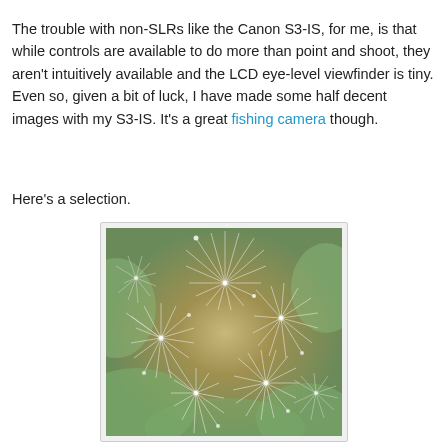The trouble with non-SLRs like the Canon S3-IS, for me, is that while controls are available to do more than point and shoot, they aren't intuitively available and the LCD eye-level viewfinder is tiny. Even so, given a bit of luck, I have made some half decent images with my S3-IS. It's a great fishing camera though.
Here's a selection.
[Figure (photo): Close-up macro photograph of a dandelion seed head showing radiating white filaments with bright star-like centers against a blurred green and brown background.]